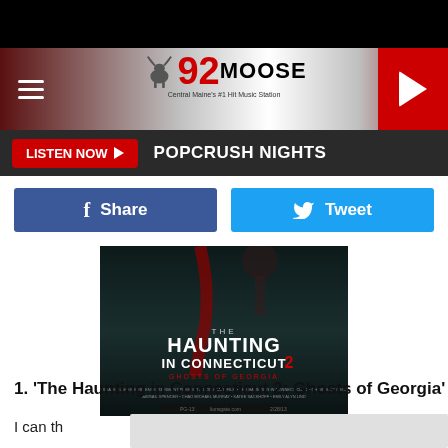[Figure (logo): 92 Moose radio station logo with moose illustration]
LISTEN NOW ▶  POPCRUSH NIGHTS
[Figure (other): Facebook Share button and Twitter Tweet button]
[Figure (photo): Movie poster for The Haunting in Connecticut 2: Ghosts of Georgia]
1. ‘The Haunting in Connecticut 2: Ghosts of Georgia’
I can th